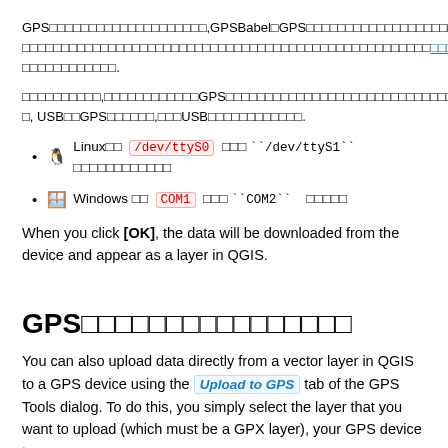GPS□□□□□□□□□□□□□□□□□□□□,GPSBabel□GPS□□□□□□□□□□□□□□□□□□□□□□.GPS□□□□□□□□□□□□□□□□□□□□□□□□□□□□□□□□□□□□□□□□□□□□□□□□□□□□□□□□□□□□□.
□□□□□□□□□□,□□□□□□□□□□□□GPS□□□□□□□□□□□□□□□□□□□□□□□□□□□□□□□□□□.□□, USB□□GPS□□□□□□,□□□USB□□□□□□□□□□□□.
Linux□□  /dev/ttyS0  □□□ ``/dev/ttyS1``   □□□□□□□□□□□□
Windows □□  COM1  □□□ ``COM2``   □□□□□
When you click [OK], the data will be downloaded from the device and appear as a layer in QGIS.
GPS□□□□□□□□□□□□□□□□
You can also upload data directly from a vector layer in QGIS to a GPS device using the Upload to GPS tab of the GPS Tools dialog. To do this, you simply select the layer that you want to upload (which must be a GPX layer), your GPS device type,